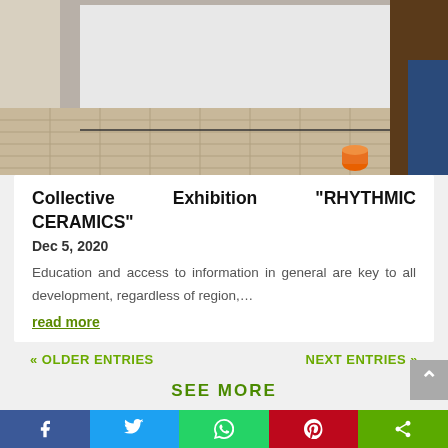[Figure (photo): Interior room photo showing a large white panel or canvas leaning against a wall, with tiled floor in the foreground and a small orange paint container in the lower right.]
Collective Exhibition “RHYTHMIC CERAMICS”
Dec 5, 2020
Education and access to information in general are key to all development, regardless of region,…
read more
« OLDER ENTRIES
NEXT ENTRIES »
SEE MORE